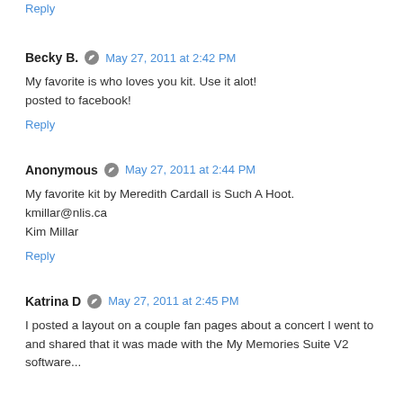Reply
Becky B. May 27, 2011 at 2:42 PM
My favorite is who loves you kit. Use it alot!
posted to facebook!
Reply
Anonymous May 27, 2011 at 2:44 PM
My favorite kit by Meredith Cardall is Such A Hoot.
kmillar@nlis.ca
Kim Millar
Reply
Katrina D May 27, 2011 at 2:45 PM
I posted a layout on a couple fan pages about a concert I went to and shared that it was made with the My Memories Suite V2 software...